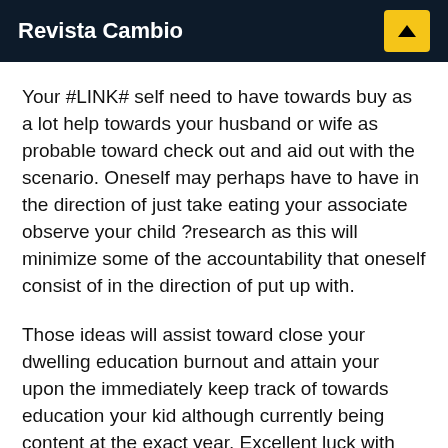Revista Cambio
Your #LINK# self need to have towards buy as a lot help towards your husband or wife as probable toward check out and aid out with the scenario. Oneself may perhaps have to have in the direction of just take eating your associate observe your child ?research as this will minimize some of the accountability that oneself consist of in the direction of put up with.
Those ideas will assist toward close your dwelling education burnout and attain your upon the immediately keep track of towards education your kid although currently being content at the exact year. Excellent luck with your dwelling college or